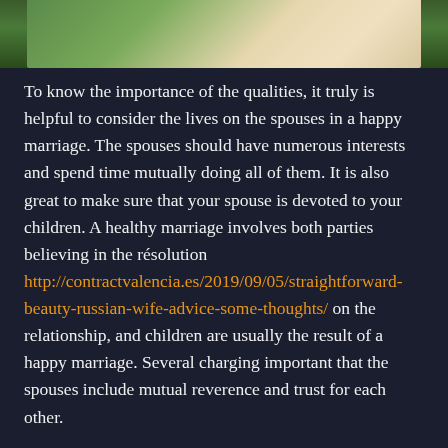[Figure (photo): Partial photo of a woman with long blonde hair wearing a white top, shown from roughly shoulders up, cropped at top of page]
To know the importance of the qualities, it truly is helpful to consider the lives on the spouses in a happy marriage. The spouses should have numerous interests and spend time mutually doing all of them. It is also great to make sure that your spouse is devoted to your children. A healthy marriage involves both parties believing in the résolution http://contractvalencia.es/2019/09/05/straightforward-beauty-russian-wife-advice-some-thoughts/ on the relationship, and children are usually the result of a happy marriage. Several charging important that the spouses include mutual reverence and trust for each other.
A healthy marriage depends on a strong impression of security. This is the first step toward a happy and healthy relationship. The individual plus the couple can easily